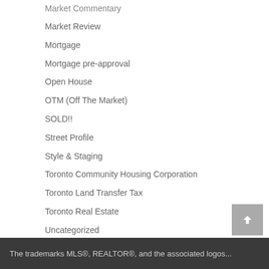Market Commentary
Market Review
Mortgage
Mortgage pre-approval
Open House
OTM (Off The Market)
SOLD!!
Street Profile
Style & Staging
Toronto Community Housing Corporation
Toronto Land Transfer Tax
Toronto Real Estate
Uncategorized
The trademarks MLS®, REALTOR®, and the associated logos...